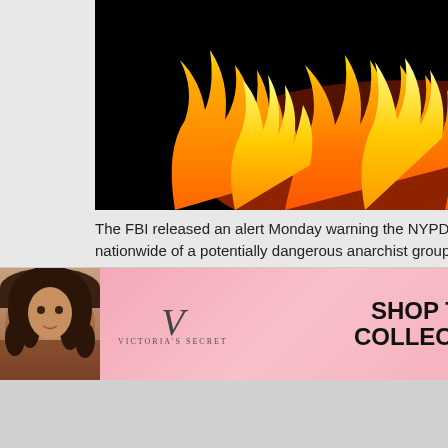[Figure (photo): Jack-o-lantern pumpkin face glowing with orange and yellow fire/flames on black background]
The FBI released an alert Monday warning the NYPD and police departments nationwide of a potentially dangerous anarchist group that says it plans to ambush cops on Halloween.
The extremist group – known as the National Liberation Militia – has proposed a "Halloween Revolt" that encourages supporters to cause a disturbance to attract police and then viciously attack them, the FBI said.
The group has recommended that members wear typical Halloween masks and use weapons such as bricks, bottles, and firearms, according...
The Dana Pre... Thursday, May... Please Join Da... Tonight at 9 P... Special Guest: Kaufmann
Counselor to t... President Kell... Conway Challe... Adam Schiff to... Evidence not i... report (VIDEO)
Greg Gutfeld o... Liberal Media I... over Mueller R... (VIDEO)
Carter Page M... of Justice: Mu... Report Conclu... Allegations Ag... Used to Justify... Spying Campa...
[Figure (photo): Victoria's Secret advertisement banner with model, VS logo, 'SHOP THE COLLECTION' text, and SHOP NOW button]